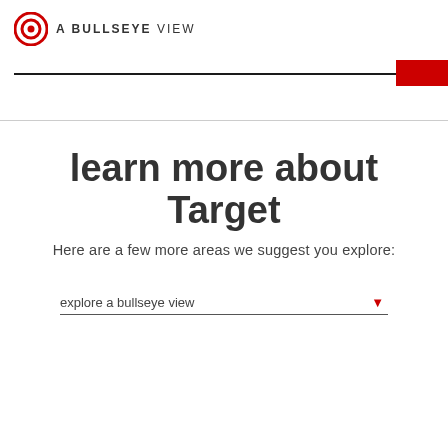A BULLSEYE VIEW
learn more about Target
Here are a few more areas we suggest you explore:
explore a bullseye view